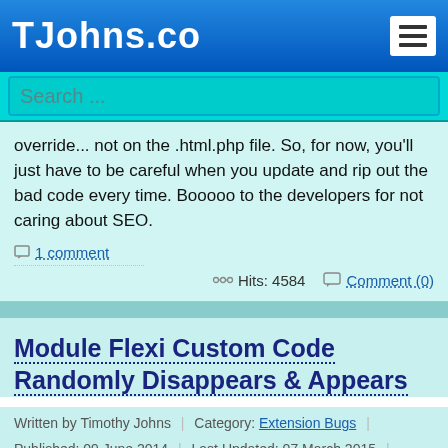TJohns.co
Search ...
override... not on the .html.php file.  So, for now, you'll just have to be careful when you update and rip out the bad code every time.  Booooo to the developers for not caring about SEO.
1 comment
Hits: 4584  Comment (0)
Module Flexi Custom Code Randomly Disappears & Appears
Written by Timothy Johns | Category: Extension Bugs | Published: 09 June 2014 | Last Updated: 07 March 2015 | Hits: 4157
Tags: flexi custom code  custom HTML advanced